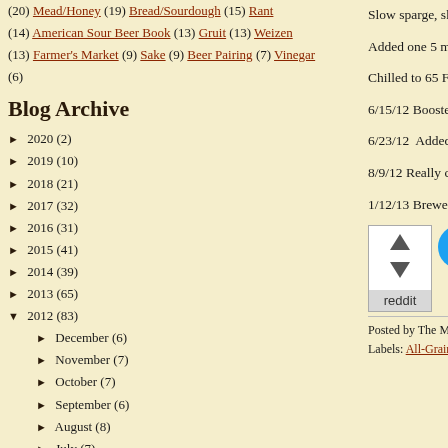(20) Mead/Honey (19) Bread/Sourdough (15) Rant
(14) American Sour Beer Book (13) Gruit (13) Weizen
(13) Farmer's Market (9) Sake (9) Beer Pairing (7) Vinegar (6)
Blog Archive
► 2020 (2)
► 2019 (10)
► 2018 (21)
► 2017 (32)
► 2016 (31)
► 2015 (41)
► 2014 (39)
► 2013 (65)
▼ 2012 (83)
► December (6)
► November (7)
► October (7)
► September (6)
► August (8)
► July (7)
▼ June (6)
Citrusy Hopped Wheat Beer Tasting
100% Lactobacillus Berliner Weisse
Toasted Oat - Coffee Stout
Slow sparge, should have collected gallons of 1.052 n
Added one 5 ml HopShot o
Chilled to 65 F, pumped in ambient to ferment.
6/15/12 Boosted temp to 6
6/23/12  Added 2 oz of cru keg 22 hours later.
8/9/12 Really close to my i
1/12/13 Brewed a third ite
[Figure (other): Reddit upvote/downvote button and Tweet button social sharing widgets]
Posted by The Mad Fermentatio Labels: All-Grain , Beer , Mad F